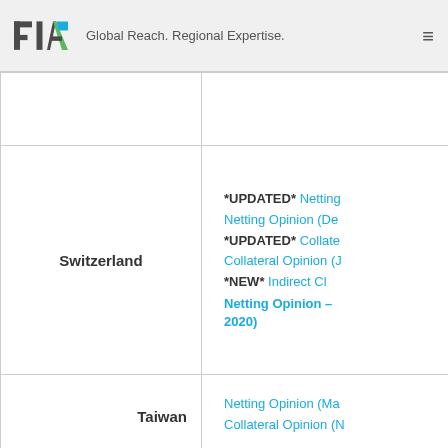FIA — Global Reach. Regional Expertise.
| Country | Documents |
| --- | --- |
|  |  |
| Switzerland | *UPDATED* Netting [Opinion]...
Netting Opinion (De...)
*UPDATED* Collate[ral Opinion]...
Collateral Opinion (J...)
*NEW* Indirect Cl[earing] Netting Opinion – [... 2020] |
| Taiwan | Netting Opinion (Ma...)
Collateral Opinion (N...) |
| Thailand | Netting Opinion (Ju...) |
| Turkey | *UPDATED* Netting...
Netting Opinion (De...) |